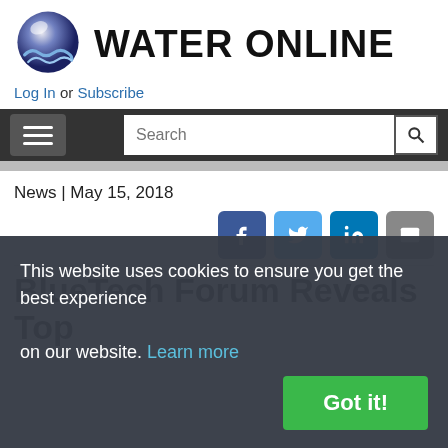[Figure (logo): Water Online logo: globe with water wave motif and bold 'WATER ONLINE' text]
Log In or Subscribe
[Figure (screenshot): Navigation bar with hamburger menu icon and search box]
News | May 15, 2018
[Figure (infographic): Social share buttons: Facebook, Twitter, LinkedIn, Email]
BlueTech Forum Reveals Top
This website uses cookies to ensure you get the best experience on our website. Learn more
Got it!